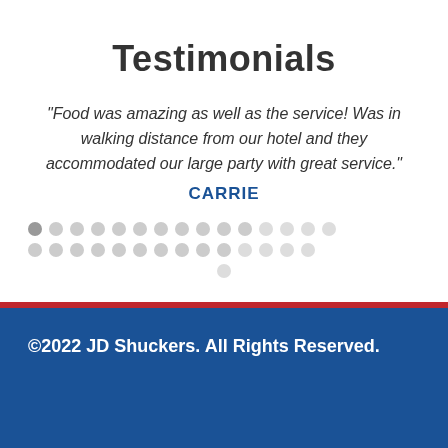Testimonials
"Food was amazing as well as the service! Was in walking distance from our hotel and they accommodated our large party with great service." CARRIE
©2022 JD Shuckers. All Rights Reserved.